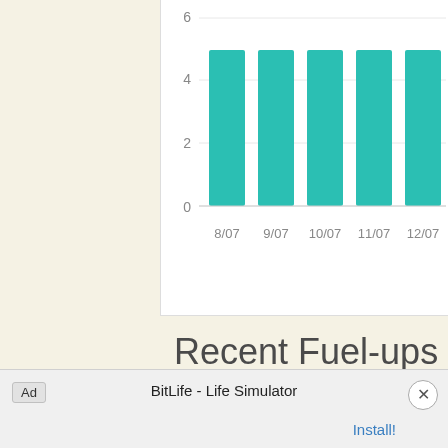[Figure (bar-chart): Bar chart (partial, top cropped)]
Recent Fuel-ups
[Figure (line-chart): Recent Fuel-ups]
Ad    BitLife - Life Simulator    Install!